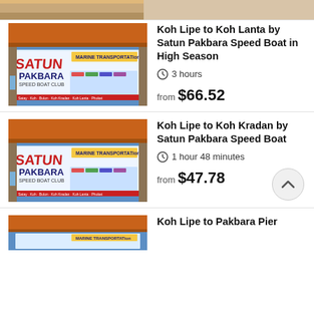[Figure (photo): Partial top of a travel listing card showing a Satun Pakbara Speed Boat sign]
Koh Lipe to Koh Lanta by Satun Pakbara Speed Boat in High Season
3 hours
from $66.52
[Figure (photo): Satun Pakbara Speed Boat Club sign at a pier terminal]
Koh Lipe to Koh Kradan by Satun Pakbara Speed Boat
1 hour 48 minutes
from $47.78
[Figure (photo): Partial bottom of page showing another Satun Pakbara listing thumbnail]
Koh Lipe to Pakbara Pier